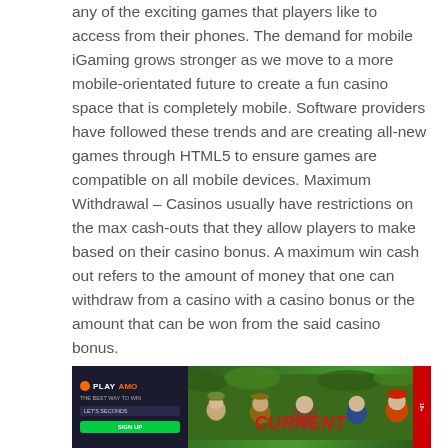any of the exciting games that players like to access from their phones. The demand for mobile iGaming grows stronger as we move to a more mobile-orientated future to create a fun casino space that is completely mobile. Software providers have followed these trends and are creating all-new games through HTML5 to ensure games are compatible on all mobile devices. Maximum Withdrawal – Casinos usually have restrictions on the max cash-outs that they allow players to make based on their casino bonus. A maximum win cash out refers to the amount of money that one can withdraw from a casino with a casino bonus or the amount that can be won from the said casino bonus.
[Figure (photo): PlayAMO casino advertisement banner with cartoon explorer characters in a jungle setting and red 'CURRENT' text overlay]